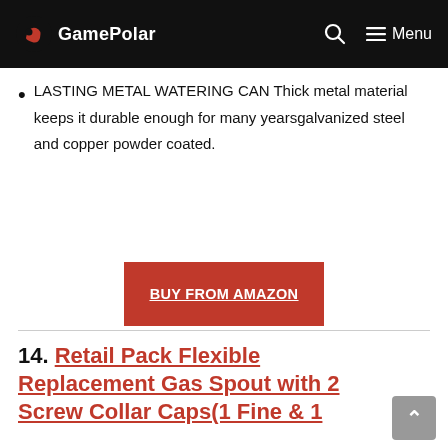GamePolar — Menu
LASTING METAL WATERING CAN Thick metal material keeps it durable enough for many years⁠galvanized steel and copper powder coated.
[Figure (other): Red 'BUY FROM AMAZON' call-to-action button]
14. Retail Pack Flexible Replacement Gas Spout with 2 Screw Collar Caps(1 Fine & 1